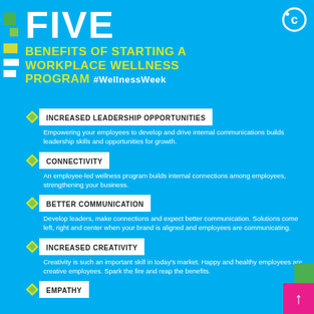FIVE
BENEFITS OF STARTING A WORKPLACE WELLNESS PROGRAM #WellnessWeek
INCREASED LEADERSHIP OPPORTUNITIES
Empowering your employees to develop and drive internal communications builds leadership skills and opportunities for growth.
CONNECTIVITY
An employee-led wellness program builds internal connections among employees, strengthening your business.
BETTER COMMUNICATION
Develop leaders, make connections and expect better communication. Solutions come left, right and center when your brand is aligned and employees are communicating.
INCREASED CREATIVITY
Creativity is such an important skill in today's market. Happy and healthy employees are creative employees. Spark the fire and reap the benefits.
EMPATHY